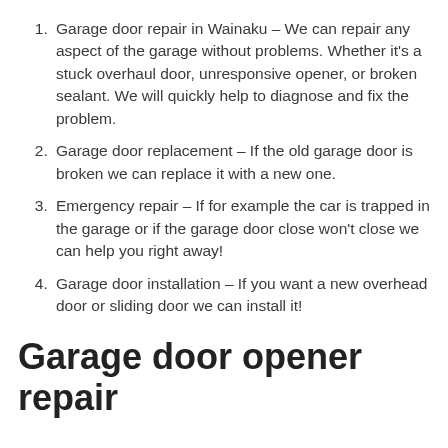Garage door repair in Wainaku – We can repair any aspect of the garage without problems. Whether it's a stuck overhaul door, unresponsive opener, or broken sealant. We will quickly help to diagnose and fix the problem.
Garage door replacement – If the old garage door is broken we can replace it with a new one.
Emergency repair – If for example the car is trapped in the garage or if the garage door close won't close we can help you right away!
Garage door installation – If you want a new overhead door or sliding door we can install it!
Garage door opener repair